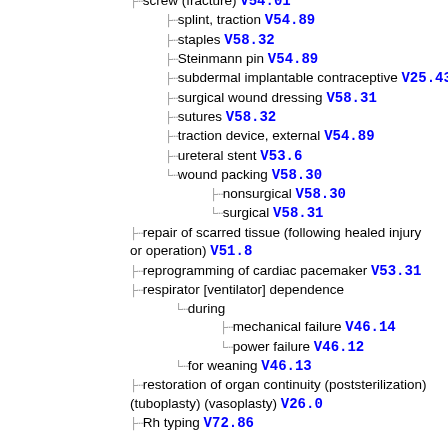screw (fracture) V54.01
splint, traction V54.89
staples V58.32
Steinmann pin V54.89
subdermal implantable contraceptive V25.43
surgical wound dressing V58.31
sutures V58.32
traction device, external V54.89
ureteral stent V53.6
wound packing V58.30
nonsurgical V58.30
surgical V58.31
repair of scarred tissue (following healed injury or operation) V51.8
reprogramming of cardiac pacemaker V53.31
respirator [ventilator] dependence
during
mechanical failure V46.14
power failure V46.12
for weaning V46.13
restoration of organ continuity (poststerilization) (tuboplasty) (vasoplasty) V26.0
Rh typing V72.86